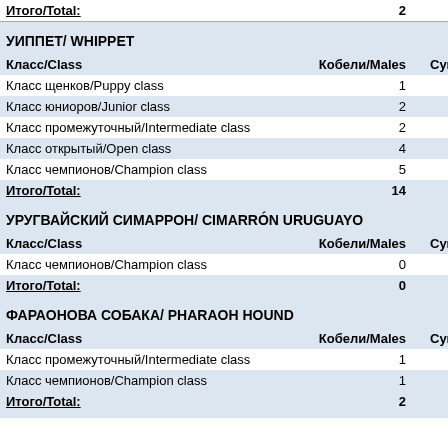| Класс/Class | Кобели/Males | Сук |
| --- | --- | --- |
| Итого/Total: | 2 |  |
| УИППЕТ/ WHIPPET |  |  |
| Класс/Class | Кобели/Males | Сук |
| Класс щенков/Puppy class | 1 |  |
| Класс юниоров/Junior class | 2 |  |
| Класс промежуточный/Intermediate class | 2 |  |
| Класс открытый/Open class | 4 |  |
| Класс чемпионов/Champion class | 5 |  |
| Итого/Total: | 14 |  |
| УРУГВАЙСКИЙ СИМАРРОН/ CIMARRÓN URUGUAYO |  |  |
| Класс/Class | Кобели/Males | Сук |
| Класс чемпионов/Champion class | 0 |  |
| Итого/Total: | 0 |  |
| ФАРАОНОВА СОБАКА/ PHARAOH HOUND |  |  |
| Класс/Class | Кобели/Males | Сук |
| Класс промежуточный/Intermediate class | 1 |  |
| Класс чемпионов/Champion class | 1 |  |
| Итого/Total: | 2 |  |